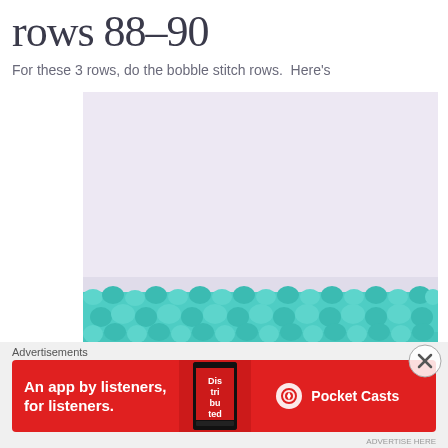rows 88-90
For these 3 rows, do the bobble stitch rows.  Here's
[Figure (photo): Photo of crochet work showing teal/mint bobble stitch rows at the bottom, on a white/light purple background]
Advertisements
[Figure (screenshot): Advertisement banner for Pocket Casts app: red background, text 'An app by listeners, for listeners.' with phone image and Pocket Casts logo/brand name]